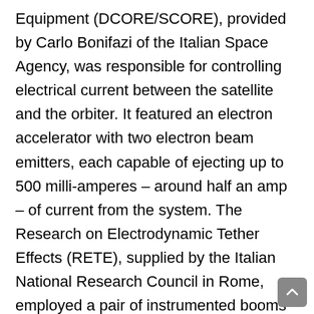Equipment (DCORE/SCORE), provided by Carlo Bonifazi of the Italian Space Agency, was responsible for controlling electrical current between the satellite and the orbiter. It featured an electron accelerator with two electron beam emitters, each capable of ejecting up to 500 milli-amperes – around half an amp – of current from the system. The Research on Electrodynamic Tether Effects (RETE), supplied by the Italian National Research Council in Rome, employed a pair of instrumented booms to measure the electrical potential in the plasma 'sheath' formed around the satellite during deployment. Franco Mariana of the Second University of Rome was principal investigator for the Magnetic Field Experiment for TSS Missions (TEMAG), which used